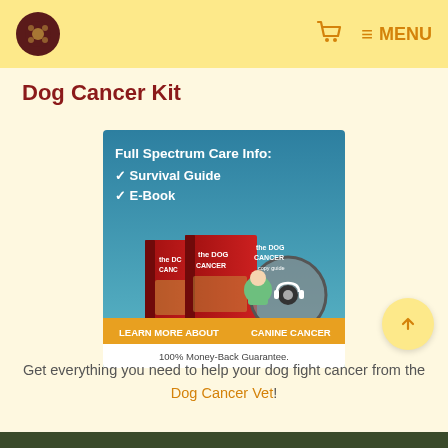Dog Cancer Kit — MENU
Dog Cancer Kit
[Figure (illustration): Dog Cancer Kit product advertisement showing two red book covers (The Dog Cancer Survival Guide), a CD/audio disc with headphones, and a man in a green shirt. Text reads: Full Spectrum Care Info: ✓ Survival Guide ✓ E-Book. Bottom banner: LEARN MORE ABOUT CANINE CANCER. 100% Money-Back Guarantee.]
Get everything you need to help your dog fight cancer from the Dog Cancer Vet!